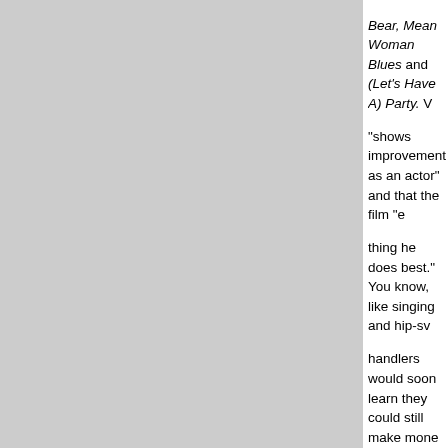Bear, Mean Woman Blues and (Let's Have A) Party. "shows improvement as an actor" and that the film "e thing he does best." You know, like singing and hip-sv handlers would soon learn they could still make mone quality.
4. Flaming Star (1960) - After the genial but fatuous re-establish Presley's dramatic credentials, casting hi a half-breed caught in a culture war and land dispute. had both been associated with the project, co-written previously had written and directed The Man in the G Faces of Eve. The role demanded more of Presley th found genuine chemistry with the great Mexican arctre Times called Flaming Star "an unpretentious but sturd place and the people seriously." Theater owners calle
5. Wild in the Country (1961) - Perhaps Presley's m the Country was ultimately undone by the competing script, penned by playwright Clifford Odets, called for boy loaded with literary talent. A cast that included Ho an attempt at topical relevance made Wild better tha Variety found it "wobbly and artificial." Smash Blue Ha the kind of movies he'd make for the rest of his caree
6. Viva Las Vegas (1964) - Flashy, gaudy, trashy and myth. There's not much of a script, but swimming inst so do Presley's cars. "As pleasant and unimportant as York Times, and that's just about right. The film that fo boasts some great tunes, though, and one of the mos films — a dreamscape for the jazz-infused I Need So Presley has the beatific look on his face that he usua